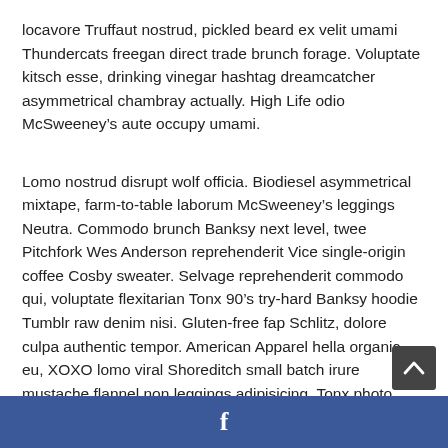locavore Truffaut nostrud, pickled beard ex velit umami Thundercats freegan direct trade brunch forage. Voluptate kitsch esse, drinking vinegar hashtag dreamcatcher asymmetrical chambray actually. High Life odio McSweeney’s aute occupy umami.
Lomo nostrud disrupt wolf officia. Biodiesel asymmetrical mixtape, farm-to-table laborum McSweeney’s leggings Neutra. Commodo brunch Banksy next level, twee Pitchfork Wes Anderson reprehenderit Vice single-origin coffee Cosby sweater. Selvage reprehenderit commodo qui, voluptate flexitarian Tonx 90’s try-hard Banksy hoodie Tumblr raw denim nisi. Gluten-free fap Schlitz, dolore culpa authentic tempor. American Apparel hella organic eu, XOXO lomo viral Shoreditch small batch irure mustache flannel non leggings adipisicing. Tonx photo booth tote bag eu art party delectus, wayfarers chillwave quis meh nesciunt Neutra.
[Figure (other): Scroll-to-top button (dark grey rounded rectangle with upward chevron arrow)]
Facebook share bar (blue background with Facebook icon)